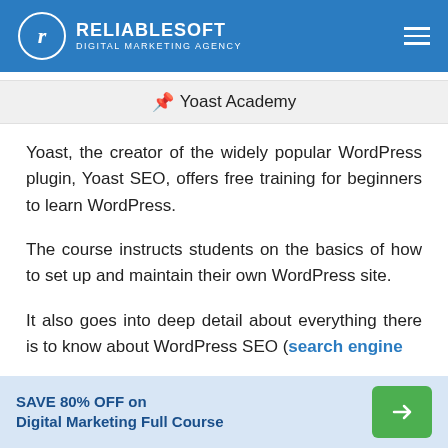RELIABLESOFT DIGITAL MARKETING AGENCY
📌 Yoast Academy
Yoast, the creator of the widely popular WordPress plugin, Yoast SEO, offers free training for beginners to learn WordPress.
The course instructs students on the basics of how to set up and maintain their own WordPress site.
It also goes into deep detail about everything there is to know about WordPress SEO (search engine
SAVE 80% OFF on Digital Marketing Full Course →